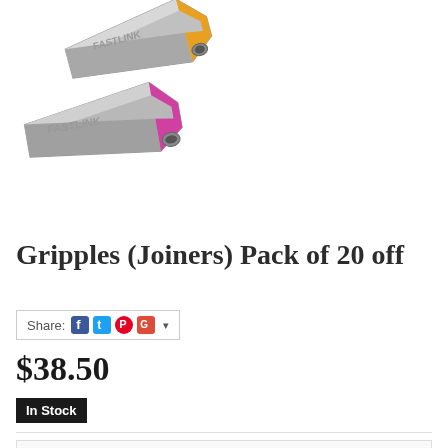[Figure (photo): Two metallic Gripple/Fastlink joiner devices. The top one has an orange/yellow colored end, and the bottom one has a pink/magenta colored end. Both are silver metallic with embossed text reading FASTLINK.]
Gripples (Joiners) Pack of 20 off
Share: [Facebook] [Twitter] [Pinterest] [Google+] ▾
$38.50
In Stock